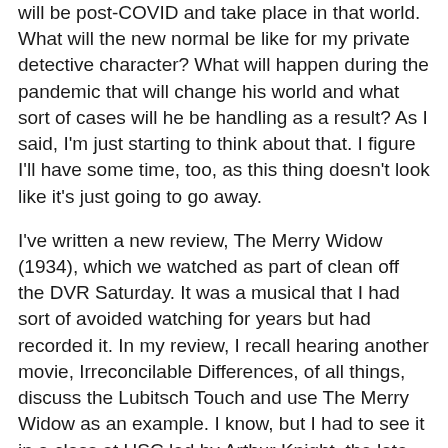will be post-COVID and take place in that world. What will the new normal be like for my private detective character? What will happen during the pandemic that will change his world and what sort of cases will he be handling as a result? As I said, I'm just starting to think about that. I figure I'll have some time, too, as this thing doesn't look like it's just going to go away.
I've written a new review, The Merry Widow (1934), which we watched as part of clean off the DVR Saturday. It was a musical that I had sort of avoided watching for years but had recorded it. In my review, I recall hearing another movie, Irreconcilable Differences, of all things, discuss the Lubitsch Touch and use The Merry Widow as an example. I know, but I had to see it in a class at USC led by Arthur Knight, the late great film critic. He would bring guests in and I believe this was one of the films he showed. Well, the quote stuck with me and when I saw the film on TCM, some years back, I recorded it with that film in the back of my head.
I'm hoping I get back on Trophy Unlocked in June but in the meantime, Scooby-Doo Month has wrapped with the live-